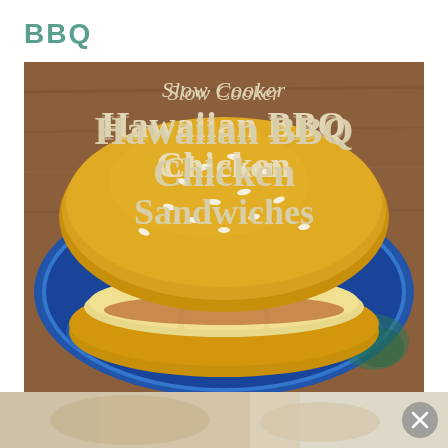BBQ
[Figure (photo): Food photo of a slow cooker Hawaiian BBQ Chicken Sandwich on a blue decorative plate, with text overlay reading 'Slow Cooker Hawaiian BBQ Chicken Sandwiches']
[Figure (photo): Partial bottom strip showing a blurred/partial continuation of a food photo with a close button (x)]